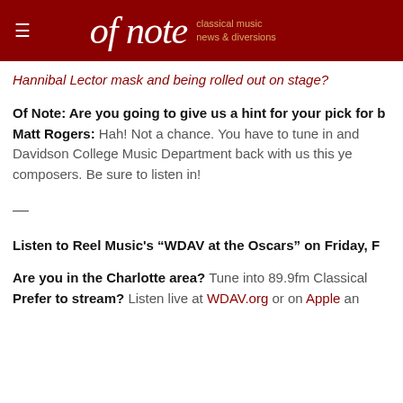of note — classical music news & diversions
Hannibal Lector mask and being rolled out on stage?
Of Note: Are you going to give us a hint for your pick for b... Matt Rogers: Hah! Not a chance. You have to tune in and... Davidson College Music Department back with us this ye... composers. Be sure to listen in!
—
Listen to Reel Music's "WDAV at the Oscars" on Friday, F...
Are you in the Charlotte area? Tune into 89.9fm Classical... Prefer to stream? Listen live at WDAV.org or on Apple an...